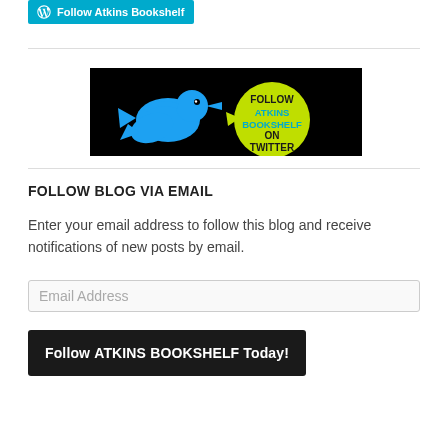[Figure (logo): Follow Atkins Bookshelf WordPress button with WordPress logo icon on teal/cyan background]
[Figure (illustration): Black background banner with a cyan Twitter bird facing right toward a yellow-green speech bubble that reads FOLLOW ATKINS BOOKSHELF ON TWITTER in black and cyan text]
FOLLOW BLOG VIA EMAIL
Enter your email address to follow this blog and receive notifications of new posts by email.
Email Address
Follow ATKINS BOOKSHELF Today!